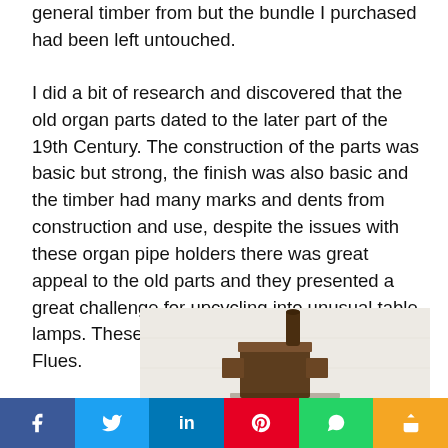general timber from but the bundle I purchased had been left untouched.
I did a bit of research and discovered that the old organ parts dated to the later part of the 19th Century. The construction of the parts was basic but strong, the finish was also basic and the timber had many marks and dents from construction and use, despite the issues with these organ pipe holders there was great appeal to the old parts and they presented a great challenge for upcycling into unusual table lamps. These wooden parts are called organ Flues.
[Figure (photo): Photograph of old wooden organ flue parts (pipe holders) with dark brown stained wood, showing a rectangular block shape with a cylindrical pipe protruding upward.]
f  Twitter  in  Pinterest  WhatsApp  Share